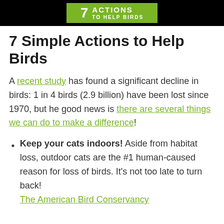[Figure (illustration): Black banner with green badge showing '7 ACTIONS TO HELP BIRDS' text]
7 Simple Actions to Help Birds
A recent study has found a significant decline in birds: 1 in 4 birds (2.9 billion) have been lost since 1970, but he good news is there are several things we can do to make a difference!
Keep your cats indoors! Aside from habitat loss, outdoor cats are the #1 human-caused reason for loss of birds. It's not too late to turn back! The American Bird Conservancy...